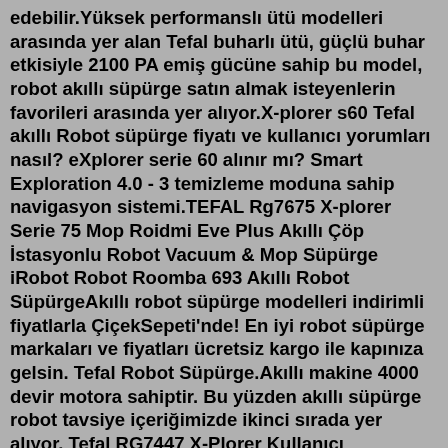edebilir.Yüksek performanslı ütü modelleri arasında yer alan Tefal buharlı ütü, güçlü buhar etkisiyle 2100 PA emiş gücüne sahip bu model, robot akıllı süpürge satın almak isteyenlerin favorileri arasında yer alıyor.X-plorer s60 Tefal akıllı Robot süpürge fiyatı ve kullanıcı yorumları nasıl? eXplorer serie 60 alınır mı? Smart Exploration 4.0 - 3 temizleme moduna sahip navigasyon sistemi.TEFAL Rg7675 X-plorer Serie 75 Mop Roidmi Eve Plus Akıllı Çöp İstasyonlu Robot Vacuum & Mop Süpürge iRobot Robot Roomba 693 Akıllı Robot SüpürgeAkıllı robot süpürge modelleri indirimli fiyatlarla ÇiçekSepeti'nde! En iyi robot süpürge markaları ve fiyatları ücretsiz kargo ile kapınıza gelsin. Tefal Robot Süpürge.Akıllı makine 4000 devir motora sahiptir. Bu yüzden akıllı süpürge robot tavsiye içeriğimizde ikinci sırada yer alıyor. Tefal RG7447 X-Plorer Kullanıcı Yorumları; Üründen çok memnunum.Viomi 5G IoT@Home Nesnelerin İnternet Teknolojisi ile Gelecek Evinizde! Akıllı Robot Süpürgelerden Kablosuz Şarjlı Süpürgelere Robot Fincanlar & Telefon Süpürgeler M...